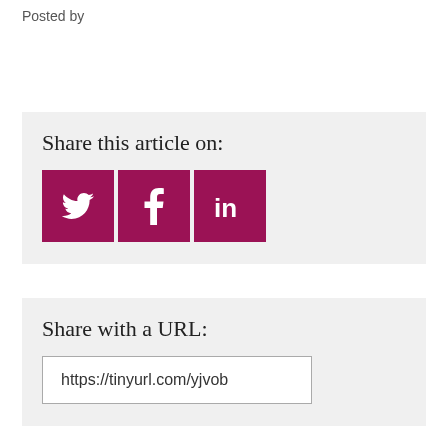Posted by
Share this article on:
[Figure (infographic): Three social media share buttons: Twitter (bird icon), Facebook (f icon), LinkedIn (in icon), all in dark pink/magenta color]
Share with a URL:
https://tinyurl.com/yjvob